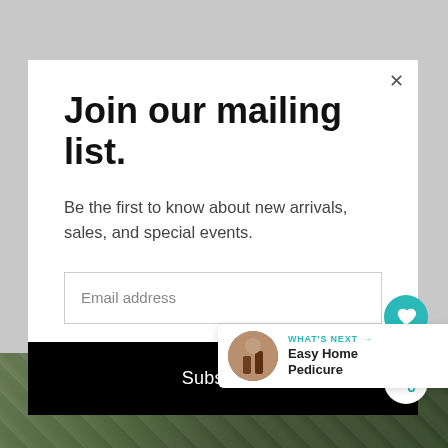Join our mailing list.
Be the first to know about new arrivals, sales, and special events.
Email address
Subscribe
WHAT'S NEXT →
Easy Home Pedicure
[Figure (photo): Blurred outdoor photo showing feet/shoes on grass with autumn leaves, used as background behind a newsletter signup modal overlay.]